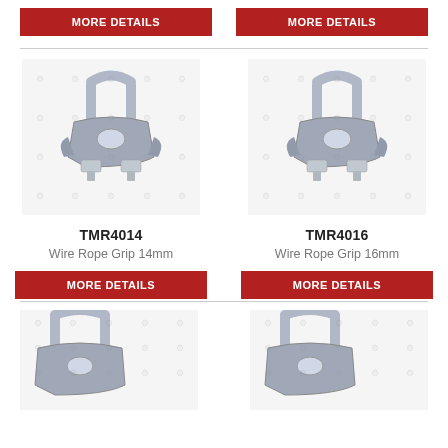[Figure (photo): Two red MORE DETAILS buttons at top of page (partially shown from previous section)]
[Figure (photo): Wire Rope Grip 14mm product photo - galvanised steel wire rope clip with U-bolt and saddle]
TMR4014
Wire Rope Grip 14mm
[Figure (other): Red MORE DETAILS button for TMR4014]
[Figure (photo): Wire Rope Grip 16mm product photo - galvanised steel wire rope clip with U-bolt and saddle]
TMR4016
Wire Rope Grip 16mm
[Figure (other): Red MORE DETAILS button for TMR4016]
[Figure (photo): Wire Rope Grip product photo - partially shown at bottom left]
[Figure (photo): Wire Rope Grip product photo - partially shown at bottom right]